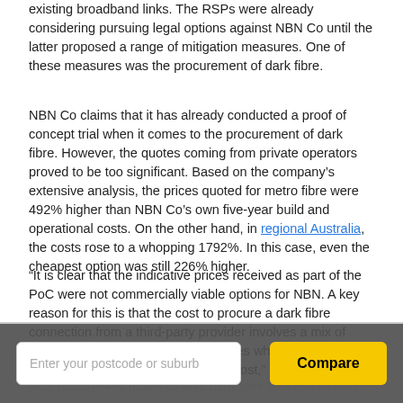existing broadband links. The RSPs were already considering pursuing legal options against NBN Co until the latter proposed a range of mitigation measures. One of these measures was the procurement of dark fibre.
NBN Co claims that it has already conducted a proof of concept trial when it comes to the procurement of dark fibre. However, the quotes coming from private operators proved to be too significant. Based on the company's extensive analysis, the prices quoted for metro fibre were 492% higher than NBN Co's own five-year build and operational costs. On the other hand, in regional Australia, the costs rose to a whopping 1792%. In this case, even the cheapest option was still 226% higher.
“It is clear that the indicative prices received as part of the PoC were not commercially viable options for NBN. A key reason for this is that the cost to procure a dark fibre connection from a third-party provider involves a mix of upfront and ongoing recurring charges where NBN’s build cost only involves a one-off upfront cost,” NBN Co said.
wide procurement model for third party dark fibre connections